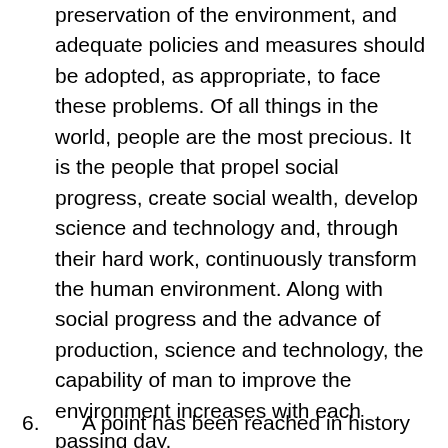preservation of the environment, and adequate policies and measures should be adopted, as appropriate, to face these problems. Of all things in the world, people are the most precious. It is the people that propel social progress, create social wealth, develop science and technology and, through their hard work, continuously transform the human environment. Along with social progress and the advance of production, science and technology, the capability of man to improve the environment increases with each passing day.
6.	A point has been reached in history